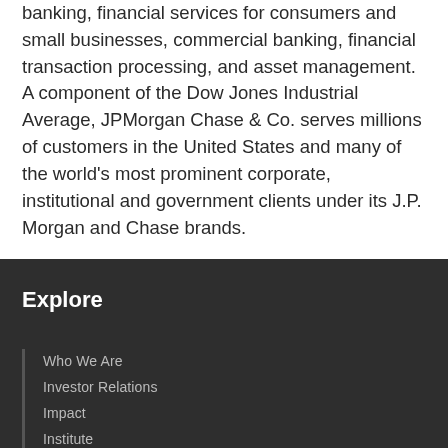banking, financial services for consumers and small businesses, commercial banking, financial transaction processing, and asset management. A component of the Dow Jones Industrial Average, JPMorgan Chase & Co. serves millions of customers in the United States and many of the world's most prominent corporate, institutional and government clients under its J.P. Morgan and Chase brands.
Explore
Who We Are
Investor Relations
Impact
Institute
Careers